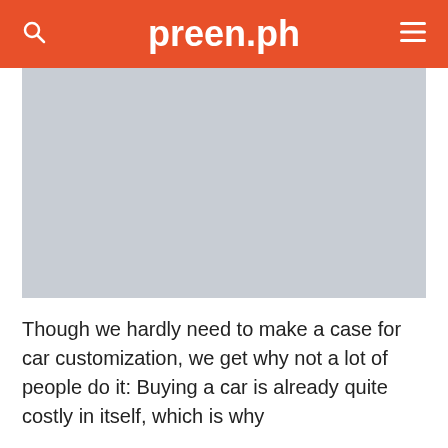preen.ph
[Figure (photo): Large image placeholder with light gray background, appears to be a car customization photo]
Though we hardly need to make a case for car customization, we get why not a lot of people do it: Buying a car is already quite costly in itself, which is why